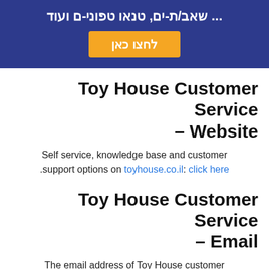[Figure (infographic): Dark blue banner with Hebrew text and an orange button labeled 'לחצו כאן' (click here)]
Toy House Customer Service – Website
Self service, knowledge base and customer .support options on toyhouse.co.il: click here
Toy House Customer Service – Email
The email address of Toy House customer .service is: toyhousejer@gmail.com
[Figure (infographic): Bottom strip with blue and image blocks partially visible]